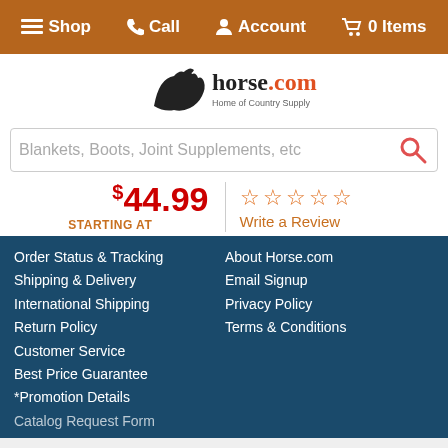≡ Shop  ✆ Call  👤 Account  🛒 0 Items
[Figure (logo): horse.com - Home of Country Supply logo with running horse icon]
Blankets, Boots, Joint Supplements, etc (search bar placeholder)
$44.99 STARTING AT
☆☆☆☆☆ Write a Review
Order Status & Tracking
Shipping & Delivery
International Shipping
Return Policy
Customer Service
Best Price Guarantee
*Promotion Details
Catalog Request Form
About Horse.com
Email Signup
Privacy Policy
Terms & Conditions
By Continuing to use our site, you consent to our use of cookies improve your experience. Learn more
- 1 + Add to Cart